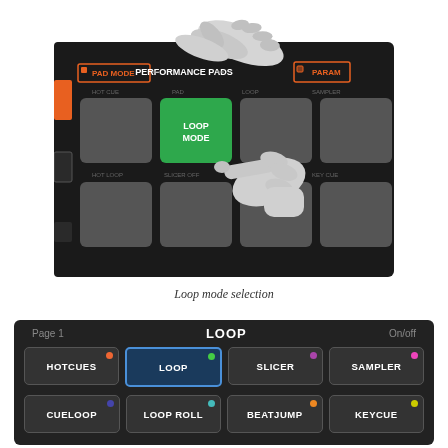[Figure (screenshot): A DJ controller interface showing Performance Pads panel with PAD MODE and PARAM buttons. A hand is pressing the central green LOOP MODE pad. The interface has a dark background with multiple grey pads arranged in a 2x4 grid.]
Loop mode selection
[Figure (screenshot): Bottom control panel showing pad mode buttons: HOTCUES (red dot), LOOP (green dot, highlighted/active in blue), SLICER (purple dot), SAMPLER (pink dot), CUELOOP (blue dot), LOOP ROLL (teal dot), BEATJUMP (orange dot), KEYCUE (yellow dot). Header shows Page 1, LOOP, On/off labels.]